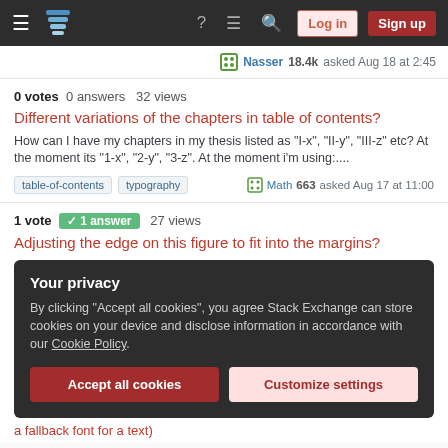Stack Exchange navigation bar with Log in and Sign up buttons
Nasser 18.4k asked Aug 18 at 2:45
0 votes  0 answers  32 views
Different variations of the chapters in table of contents?
How can I have my chapters in my thesis listed as "I-x", "II-y", "III-z" etc? At the moment its "1-x", "2-y", "3-z". At the moment i'm using:....
table-of-contents  typography   Math 663 asked Aug 17 at 11:00
1 vote  1 answer  27 views
Adjusting the edge on this figure to fit into the margins?
Your privacy
By clicking "Accept all cookies", you agree Stack Exchange can store cookies on your device and disclose information in accordance with our Cookie Policy.
Accept all cookies  Customize settings
a fallback font for a text)